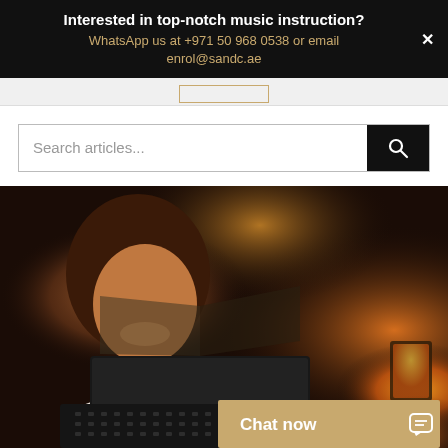Interested in top-notch music instruction? WhatsApp us at +971 50 968 0538 or email enrol@sandc.ae
Search articles...
[Figure (photo): A smiling young woman looking at a laptop screen, with a candle and warm ambient lighting in the background. A chat now button overlay appears at the bottom right.]